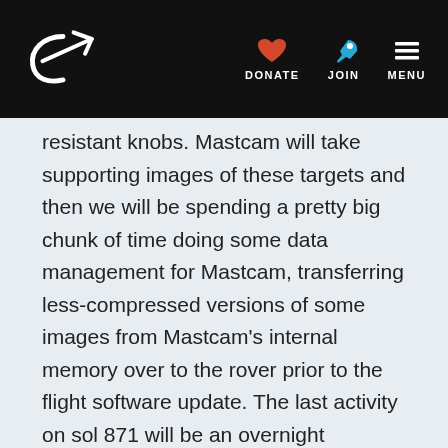Planetary Society navigation bar with logo, DONATE, JOIN, MENU
resistant knobs. Mastcam will take supporting images of these targets and then we will be spending a pretty big chunk of time doing some data management for Mastcam, transferring less-compressed versions of some images from Mastcam's internal memory over to the rover prior to the flight software update. The last activity on sol 871 will be an overnight analysis of the chunk of rock that our first mini-drill dislodged, using APXS. This is a rare